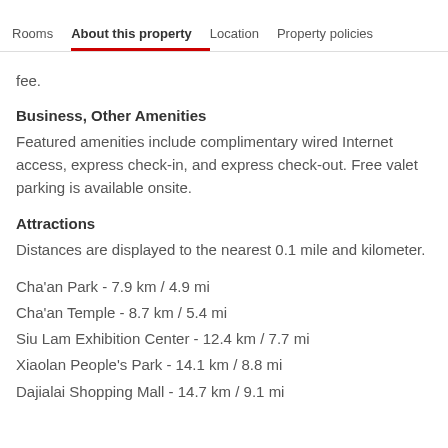Rooms  About this property  Location  Property policies
fee.
Business, Other Amenities
Featured amenities include complimentary wired Internet access, express check-in, and express check-out. Free valet parking is available onsite.
Attractions
Distances are displayed to the nearest 0.1 mile and kilometer.
Cha'an Park - 7.9 km / 4.9 mi
Cha'an Temple - 8.7 km / 5.4 mi
Siu Lam Exhibition Center - 12.4 km / 7.7 mi
Xiaolan People's Park - 14.1 km / 8.8 mi
Dajialai Shopping Mall - 14.7 km / 9.1 mi